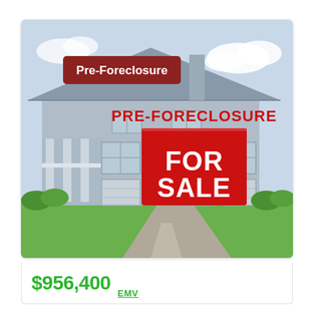[Figure (photo): A suburban house with gray siding and white trim in the background, with a red 'Pre-Foreclosure / For Sale' sign in the foreground. A dark red badge labeled 'Pre-Foreclosure' overlays the upper-left area of the image.]
$956,400  EMV